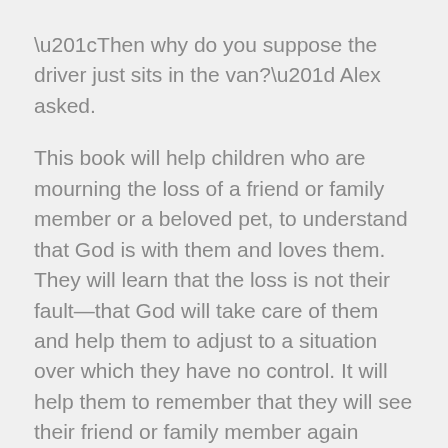“Then why do you suppose the driver just sits in the van?” Alex asked.
This book will help children who are mourning the loss of a friend or family member or a beloved pet, to understand that God is with them and loves them. They will learn that the loss is not their fault—that God will take care of them and help them to adjust to a situation over which they have no control. It will help them to remember that they will see their friend or family member again when Jesus comes.
SHARE   TWEET